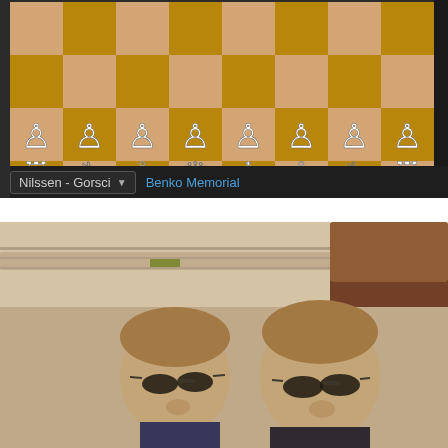[Figure (screenshot): Screenshot of an online chess board showing a position from the game Nilssen - Gorsci at the Benko Memorial. The board shows white pieces on the bottom two ranks (pawns in a line, and pieces including rooks, knights, bishops, queen, and king). The right side shows partial chess notation including '11. Nxh', 'Nxc1+', 'because' and navigation controls. Below the board is a dropdown labeled 'Nilssen - Gorsci' and a link 'Benko Memorial'.]
[Figure (photo): Photo of two young men wearing sunglasses, taking a selfie in what appears to be a train or airplane interior. The image has a warm, slightly vintage tone. Both men have light brown hair and are looking at the camera.]